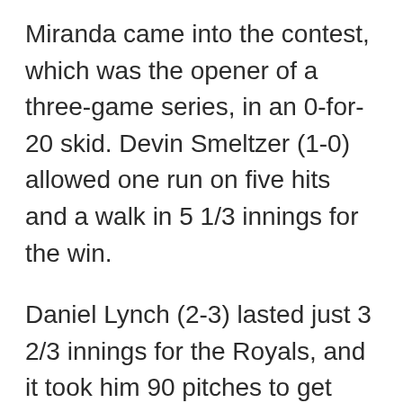Miranda came into the contest, which was the opener of a three-game series, in an 0-for-20 skid. Devin Smeltzer (1-0) allowed one run on five hits and a walk in 5 1/3 innings for the win.
Daniel Lynch (2-3) lasted just 3 2/3 innings for the Royals, and it took him 90 pitches to get that far. He allowed four runs on five hits while striking out two and walking two.
Brewers 7, Nationals 0
Rowdy Tellez jump-started the Brewers' offense with a two-run homer and Tyrone Taylor added a three-run shot to back